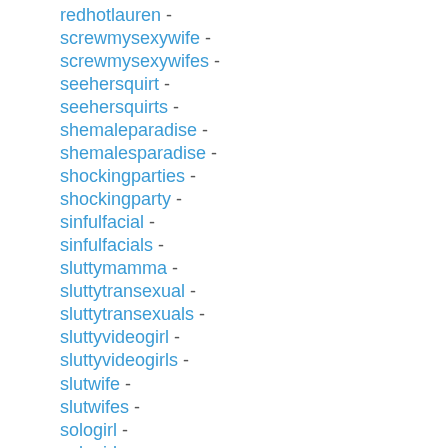redhotlauren -
screwmysexywife -
screwmysexywifes -
seehersquirt -
seehersquirts -
shemaleparadise -
shemalesparadise -
shockingparties -
shockingparty -
sinfulfacial -
sinfulfacials -
sluttymamma -
sluttytransexual -
sluttytransexuals -
sluttyvideogirl -
sluttyvideogirls -
slutwife -
slutwifes -
sologirl -
sologirls -
springbreakhoe -
springbreakhoes -
squirtingchick -